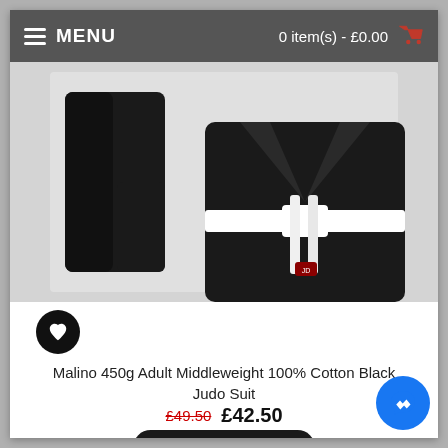MENU | 0 item(s) - £0.00
[Figure (photo): Black judo suit (gi) with white belt, showing trousers on left and jacket on right against light background]
Malino 450g Adult Middleweight 100% Cotton Black Judo Suit
£49.50 £42.50
ADD TO CART